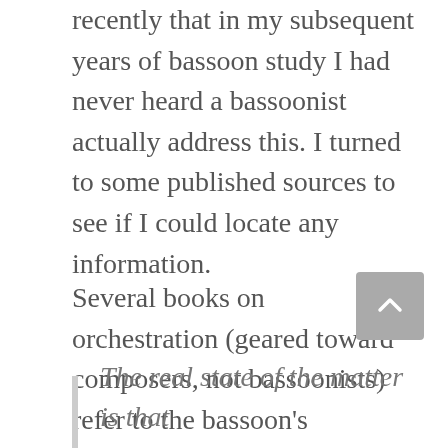recently that in my subsequent years of bassoon study I had never heard a bassoonist actually address this. I turned to some published sources to see if I could locate any information.
Several books on orchestration (geared toward composers, not bassoonists) refer to the bassoon's supposedly unique or unusual staccato. A masters thesis by Melissa Pipe brings several of these together. (I should confess I pulled these quotes directly from Ms. Pipe's paper, and haven't verified them with the original sources.)
The real state of the matter is that